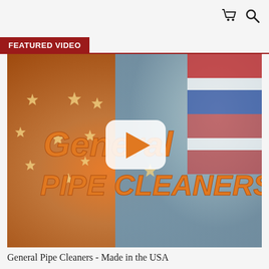cart and search icons
FEATURED VIDEO
[Figure (screenshot): Video thumbnail showing American flag with stars background, orange italic text reading 'General Pipe Cleaners', and a white YouTube-style play button overlay in the center.]
General Pipe Cleaners - Made in the USA